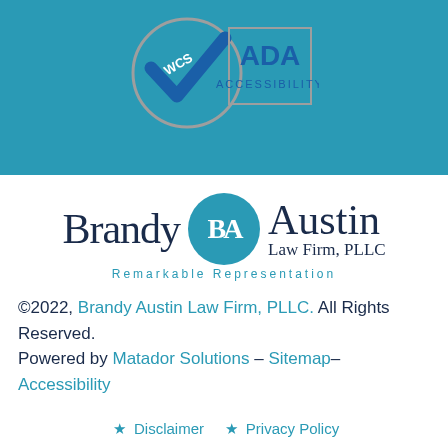[Figure (logo): WCS ADA Accessibility badge on teal background]
[Figure (logo): Brandy Austin Law Firm, PLLC logo with teal circle BA monogram and tagline Remarkable Representation]
©2022, Brandy Austin Law Firm, PLLC. All Rights Reserved.
Powered by Matador Solutions – Sitemap– Accessibility
* Disclaimer  * Privacy Policy